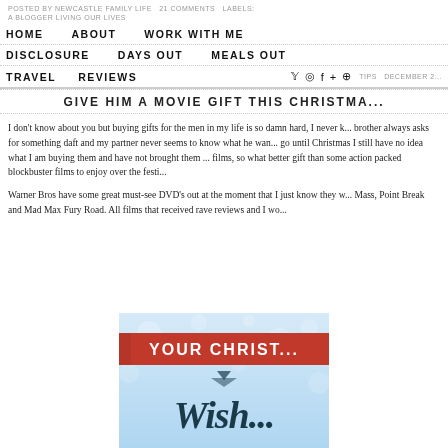POSTED BY NEWCASTLE FAMILY LIFE   21 COMMENTS   LABELS: A BLOGGER LIVING OUR LIVES
HOME   ABOUT   WORK WITH ME   DISCLOSURE   DAYS OUT   MEALS OUT   TRAVEL   REVIEWS
TIPS   DECEMBER 2...
GIVE HIM A MOVIE GIFT THIS CHRISTMA...
I don't know about you but buying gifts for the men in my life is so damn hard, I never k... brother always asks for something daft and my partner never seems to know what he wan... go until Christmas I still have no idea what I am buying them and have not brought them ... films, so what better gift than some action packed blockbuster films to enjoy over the festi...
Warner Bros have some great must-see DVD's out at the moment that I just know they w... Mass, Point Break and Mad Max Fury Road. All films that received rave reviews and I wo...
[Figure (illustration): Promotional banner image with light blue background showing a red ribbon banner at top reading 'YOUR CHRIST...' and below in dark script lettering 'Wish...']